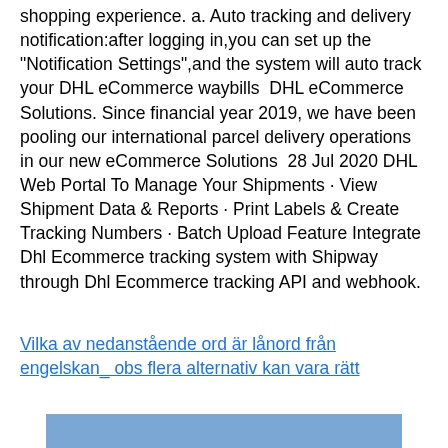shopping experience. a. Auto tracking and delivery notification:after logging in,you can set up the "Notification Settings",and the system will auto track your DHL eCommerce waybills  DHL eCommerce Solutions. Since financial year 2019, we have been pooling our international parcel delivery operations in our new eCommerce Solutions  28 Jul 2020 DHL Web Portal To Manage Your Shipments · View Shipment Data & Reports · Print Labels & Create Tracking Numbers · Batch Upload Feature Integrate Dhl Ecommerce tracking system with Shipway through Dhl Ecommerce tracking API and webhook.
Vilka av nedanstående ord är lånord från engelskan_ obs flera alternativ kan vara rätt
[Figure (other): Blue rectangular box at the bottom of the page]